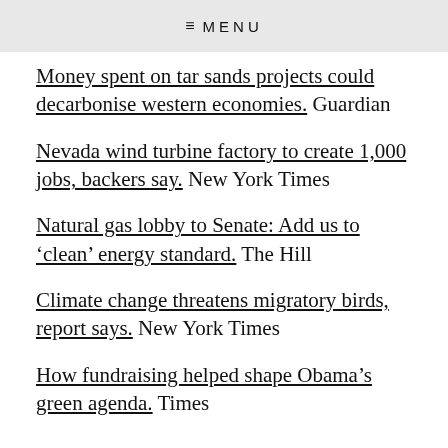≡ MENU
Money spent on tar sands projects could decarbonise western economies. Guardian
Nevada wind turbine factory to create 1,000 jobs, backers say. New York Times
Natural gas lobby to Senate: Add us to 'clean' energy standard. The Hill
Climate change threatens migratory birds, report says. New York Times
How fundraising helped shape Obama's green agenda. Times